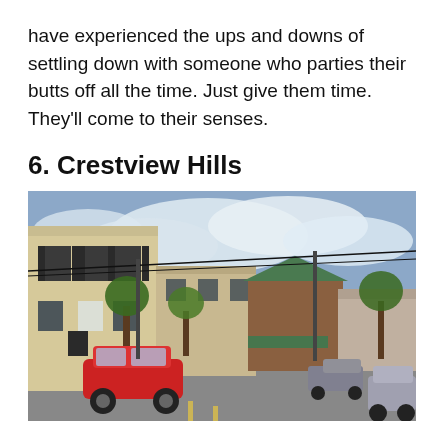have experienced the ups and downs of settling down with someone who parties their butts off all the time. Just give them time. They'll come to their senses.
6. Crestview Hills
[Figure (photo): Street-level photo of Crestview Hills town center showing multi-story commercial buildings, parked cars including a red car in the foreground, trees lining the street, and a partly cloudy sky.]